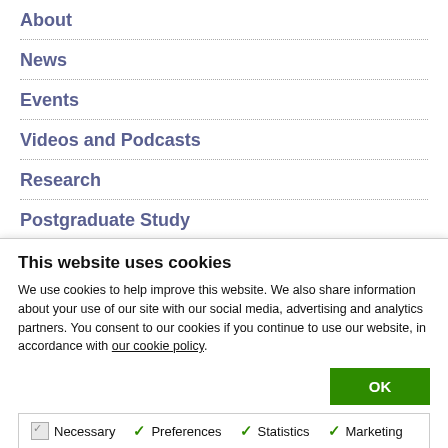About
News
Events
Videos and Podcasts
Research
Postgraduate Study
Making a Difference
This website uses cookies
We use cookies to help improve this website. We also share information about your use of our site with our social media, advertising and analytics partners. You consent to our cookies if you continue to use our website, in accordance with our cookie policy.
OK
Necessary  Preferences  Statistics  Marketing